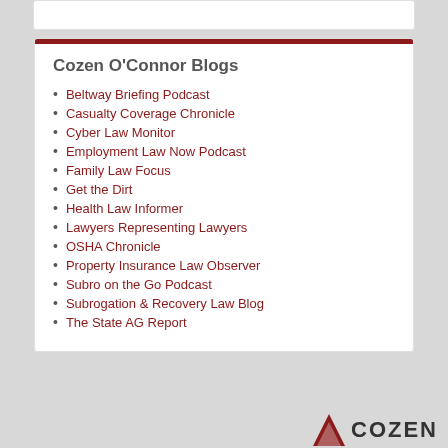Cozen O'Connor Blogs
Beltway Briefing Podcast
Casualty Coverage Chronicle
Cyber Law Monitor
Employment Law Now Podcast
Family Law Focus
Get the Dirt
Health Law Informer
Lawyers Representing Lawyers
OSHA Chronicle
Property Insurance Law Observer
Subro on the Go Podcast
Subrogation & Recovery Law Blog
The State AG Report
[Figure (logo): Cozen O'Connor logo with red triangle and bold COZEN text in dark gray]